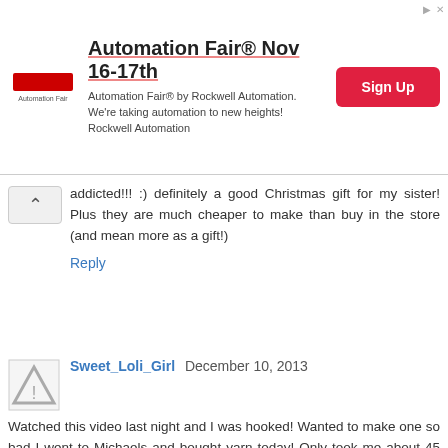[Figure (other): Advertisement banner for Automation Fair by Rockwell Automation, Nov 16-17th, with Sign Up button]
addicted!!! :) definitely a good Christmas gift for my sister! Plus they are much cheaper to make than buy in the store (and mean more as a gift!)
Reply
Sweet_Loli_Girl December 10, 2013
Watched this video last night and I was hooked! Wanted to make one so bad I went to Michaels and bought yarn today! Only took me about 45 minutes! And this was my first time knitting anything. I mostly crochet amigurumi. it was a nice change of pace with almost instant satisfaction :D thanks for the awesome and very easy to follow tutorial!
Reply